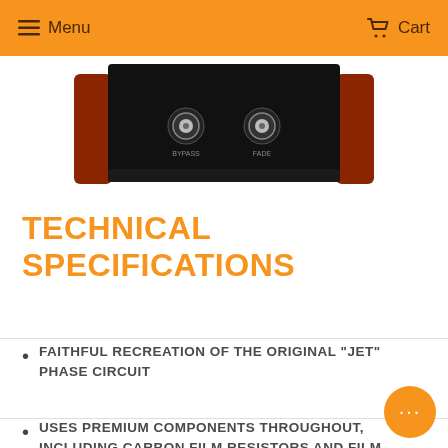Menu   Cart
[Figure (photo): Front view of a guitar effect pedal (phase pedal) with black casing, wooden side panels in dark red/mahogany, and two chrome knobs labeled on the top panel.]
TECHNICAL SPECIFICATIONS
FAITHFUL RECREATION OF THE ORIGINAL “JET” PHASE CIRCUIT
USES PREMIUM COMPONENTS THROUGHOUT, INCLUDING CARBON FILM RESISTORS AND FILM